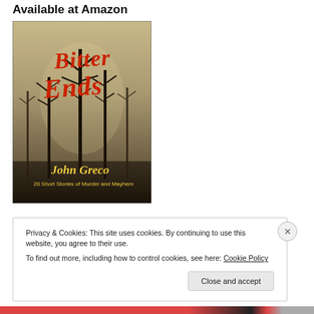Available at Amazon
[Figure (illustration): Book cover for 'Bitter Ends' by John Greco — 20 Short Stories of Murder and Mayhem. Features bare dark trees against a murky sky with red stylized title text and yellow author name.]
Privacy & Cookies: This site uses cookies. By continuing to use this website, you agree to their use.
To find out more, including how to control cookies, see here: Cookie Policy
Close and accept